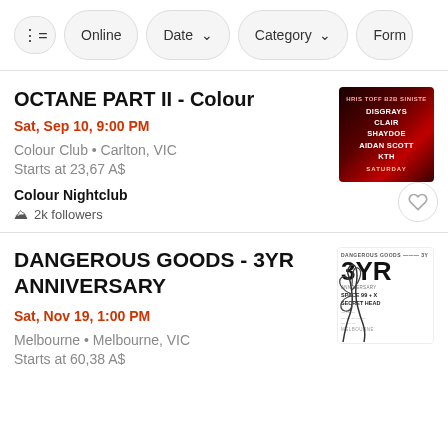Filter bar: controls icon | Online | Date ▾ | Category ▾ | Form
OCTANE PART II - Colour
Sat, Sep 10, 9:00 PM
Colour Club • Carlton, VIC
Starts at 23,67 A$
Colour Nightclub
2k followers
[Figure (photo): Event poster for OCTANE PART II showing artists: HRIS TOFF B2B SINISTE, DISGRAYS, CLAIR, SHAYDOE, AIDAN SCOTT, KTH on dark red background with SATURDAY text]
DANGEROUS GOODS - 3YR ANNIVERSARY
Sat, Nov 19, 1:00 PM
Melbourne • Melbourne, VIC
Starts at 60,38 A$
[Figure (photo): Event poster for DANGEROUS GOODS 3YR ANNIVERSARY showing large '3YR' text with claw art, SPACE 99 + X, SECRET HEAD text, monochrome style]